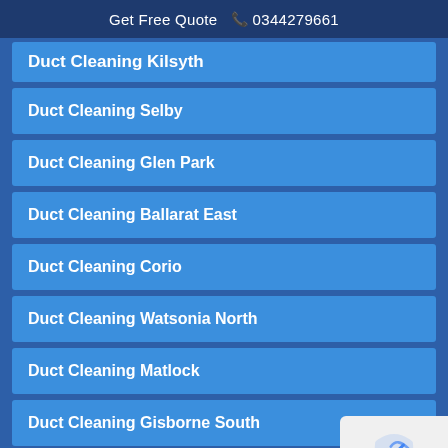Get Free Quote 0344279661
Duct Cleaning Kilsyth
Duct Cleaning Selby
Duct Cleaning Glen Park
Duct Cleaning Ballarat East
Duct Cleaning Corio
Duct Cleaning Watsonia North
Duct Cleaning Matlock
Duct Cleaning Gisborne South
Duct Cleaning Highett